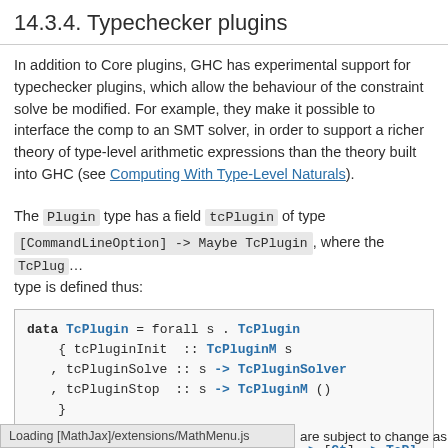14.3.4. Typechecker plugins
In addition to Core plugins, GHC has experimental support for typechecker plugins, which allow the behaviour of the constraint solver to be modified. For example, they make it possible to interface the compiler to an SMT solver, in order to support a richer theory of type-level arithmetic expressions than the theory built into GHC (see Computing With Type-Level Naturals).
The Plugin type has a field tcPlugin of type [CommandLineOption] -> Maybe TcPlugin , where the TcPlugin type is defined thus:
data TcPlugin = forall s . TcPlugin
    { tcPluginInit  :: TcPluginM s
    , tcPluginSolve :: s -> TcPluginSolver
    , tcPluginStop  :: s -> TcPluginM ()
    }
type TcPluginSolver = [Ct] -> [Ct] -> [Ct] -> TcPl
data TcPluginResult = TcPluginContradiction [Ct] |
Loading [MathJax]/extensions/MathMenu.js
are subject to change as we gain m